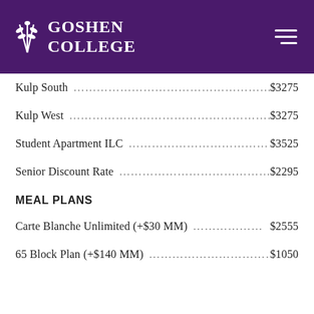Goshen College
Kulp South …………………………………………… $3275
Kulp West …………………………………………… $3275
Student Apartment ILC ………………………… $3525
Senior Discount Rate ………………………………… $2295
MEAL PLANS
Carte Blanche Unlimited (+$30 MM)……………… $2555
65 Block Plan (+$140 MM)………………………… $1050